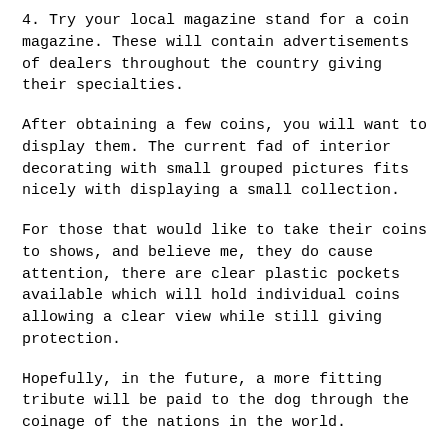4. Try your local magazine stand for a coin magazine. These will contain advertisements of dealers throughout the country giving their specialties.
After obtaining a few coins, you will want to display them. The current fad of interior decorating with small grouped pictures fits nicely with displaying a small collection.
For those that would like to take their coins to shows, and believe me, they do cause attention, there are clear plastic pockets available which will hold individual coins allowing a clear view while still giving protection.
Hopefully, in the future, a more fitting tribute will be paid to the dog through the coinage of the nations in the world.
.